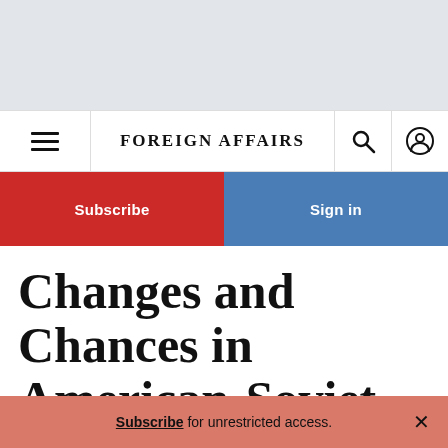FOREIGN AFFAIRS
Subscribe
Sign in
Changes and Chances in American-Soviet Relations
Subscribe for unrestricted access.